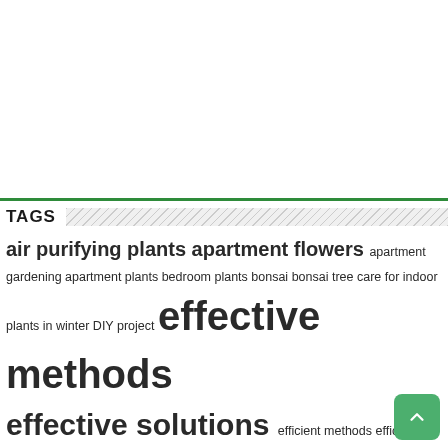[Figure (other): White blank area above a green horizontal rule separator]
TAGS
air purifying plants apartment flowers apartment gardening apartment plants bedroom plants bonsai bonsai tree care for indoor plants in winter DIY project effective methods effective solutions efficient methods efficient solutions excessive watering flowers garden gardening tips geraniums get rid of aphids grow vegetables homemade fertilizer houseplants how to get rid of how to prevent how to water orchids indoor plants natural fertilizer natural